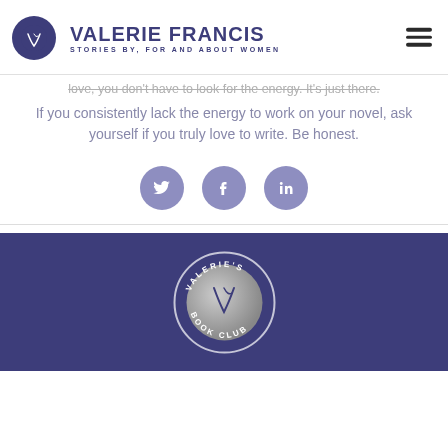VALERIE FRANCIS — STORIES BY, FOR AND ABOUT WOMEN
love, you don't have to look for the energy. It's just there.
If you consistently lack the energy to work on your novel, ask yourself if you truly love to write. Be honest.
[Figure (infographic): Three social media icon circles: Twitter (bird icon), Facebook (f icon), LinkedIn (in icon), in muted purple/periwinkle color]
[Figure (logo): Valerie's Book Club circular badge logo on dark navy/purple background — white circle outline with pen/quill VF monogram, text reading VALERIE'S BOOK CLUB around the rim]